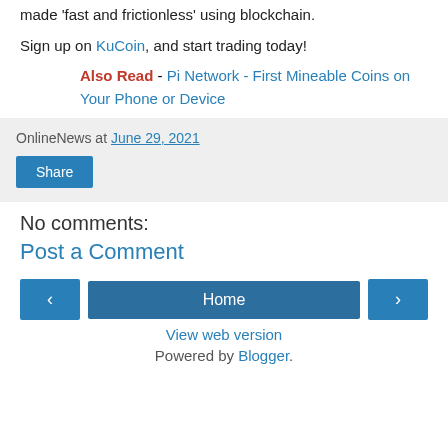...hosted remittance services, amongst other things, that are made 'fast and frictionless' using blockchain.
Sign up on KuCoin, and start trading today!
Also Read - Pi Network - First Mineable Coins on Your Phone or Device
OnlineNews at June 29, 2021
Share
No comments:
Post a Comment
‹ Home › View web version Powered by Blogger.